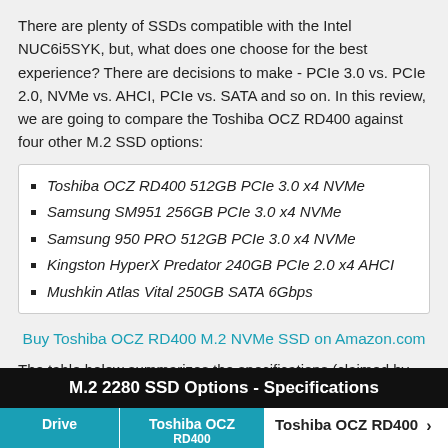There are plenty of SSDs compatible with the Intel NUC6i5SYK, but, what does one choose for the best experience? There are decisions to make - PCIe 3.0 vs. PCIe 2.0, NVMe vs. AHCI, PCIe vs. SATA and so on. In this review, we are going to compare the Toshiba OCZ RD400 against four other M.2 SSD options:
Toshiba OCZ RD400 512GB PCIe 3.0 x4 NVMe
Samsung SM951 256GB PCIe 3.0 x4 NVMe
Samsung 950 PRO 512GB PCIe 3.0 x4 NVMe
Kingston HyperX Predator 240GB PCIe 2.0 x4 AHCI
Mushkin Atlas Vital 250GB SATA 6Gbps
Buy Toshiba OCZ RD400 M.2 NVMe SSD on Amazon.com
The table below summarizes the specifications (claimed by the manufacturers) for the various evaluated SSDs. The entries in bold indicate the features corresponding to the tested sample.
| Drive | Toshiba OCZ RD400 | Toshiba OCZ RD400 |
| --- | --- | --- |